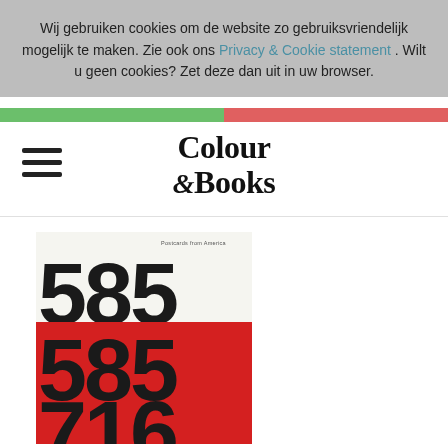Wij gebruiken cookies om de website zo gebruiksvriendelijk mogelijk te maken. Zie ook ons Privacy & Cookie statement. Wilt u geen cookies? Zet deze dan uit in uw browser.
[Figure (logo): Colour & Books logo with hamburger menu icon]
[Figure (photo): Book cover showing 'Postcards from America' with large numbers 585 716 on white and red background]